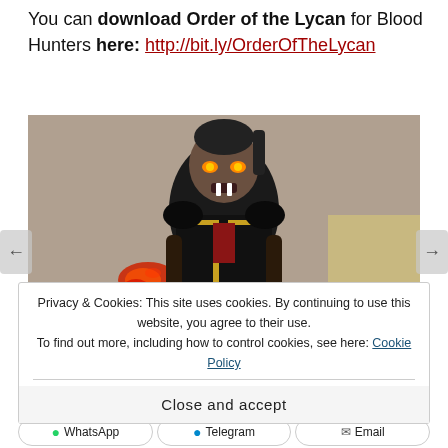You can download Order of the Lycan for Blood Hunters here: http://bit.ly/OrderOfTheLycan
[Figure (illustration): Fantasy illustration of a werewolf-like Blood Hunter character in dark armor with glowing red hands and claws, in an aggressive pose. Partially overlaid by a cookie consent banner. Bottom right corner shows 'ORDER OF' text.]
Privacy & Cookies: This site uses cookies. By continuing to use this website, you agree to their use. To find out more, including how to control cookies, see here: Cookie Policy
Close and accept
WhatsApp  Telegram  Email